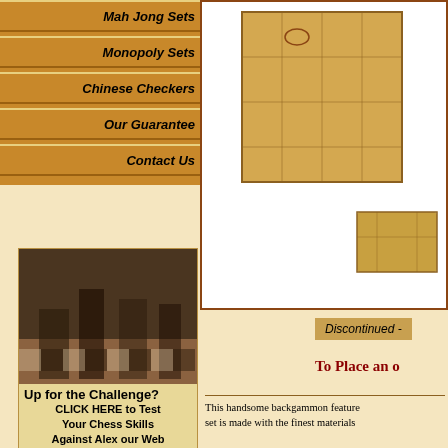Mah Jong Sets
Monopoly Sets
Chinese Checkers
Our Guarantee
Contact Us
[Figure (photo): Advertisement banner showing chess pieces on a chess board with text: Up for the Challenge? CLICK HERE to Test Your Chess Skills Against Alex our Web Based Chess Computer]
[Figure (photo): Product image showing a decorative backgammon box with illustrated artwork, partially visible, on white background]
Discontinued -
To Place an o
This handsome backgammon feature set is made with the finest materials